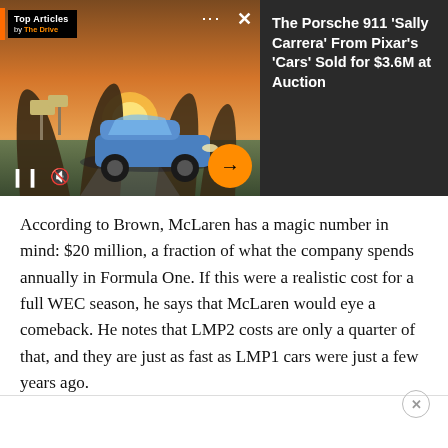[Figure (screenshot): Sponsored article banner ad showing a blue Porsche 911 against a sunset desert background with arched rock formations. Left side has 'Top Articles by The Drive' badge, pause and mute controls, three-dots menu, X close button, and orange arrow CTA. Right dark panel shows headline: The Porsche 911 'Sally Carrera' From Pixar's 'Cars' Sold for $3.6M at Auction.]
According to Brown, McLaren has a magic number in mind: $20 million, a fraction of what the company spends annually in Formula One. If this were a realistic cost for a full WEC season, he says that McLaren would eye a comeback. He notes that LMP2 costs are only a quarter of that, and they are just as fast as LMP1 cars were just a few years ago.